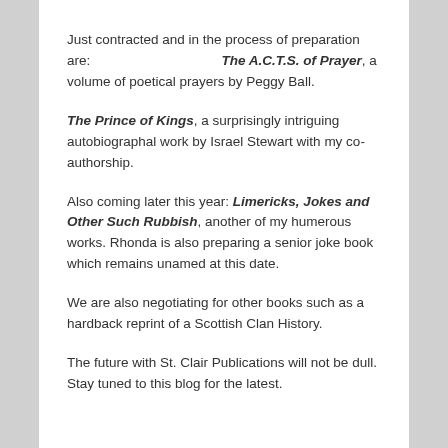Just contracted and in the process of preparation are: The A.C.T.S. of Prayer, a volume of poetical prayers by Peggy Ball.
The Prince of Kings, a surprisingly intriguing autobiographal work by Israel Stewart with my co-authorship.
Also coming later this year: Limericks, Jokes and Other Such Rubbish, another of my humerous works. Rhonda is also preparing a senior joke book which remains unamed at this date.
We are also negotiating for other books such as a hardback reprint of a Scottish Clan History.
The future with St. Clair Publications will not be dull. Stay tuned to this blog for the latest.